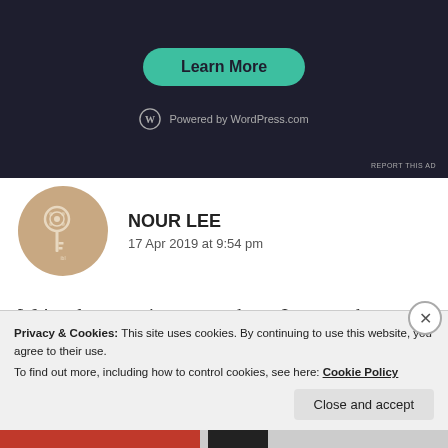[Figure (screenshot): Dark-themed ad banner with a teal 'Learn More' button and WordPress.com logo at the bottom]
REPORT THIS AD
[Figure (illustration): Circular avatar with beige/tan background showing an ornate key illustration]
NOUR LEE
17 Apr 2019 at 9:54 pm
We're always going to stay here. I mean where will we go? There isn't a blog that offers the same
Privacy & Cookies: This site uses cookies. By continuing to use this website, you agree to their use.
To find out more, including how to control cookies, see here: Cookie Policy
Close and accept